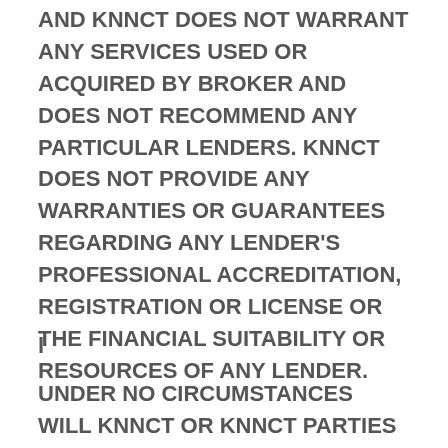AND KNNCT DOES NOT WARRANT ANY SERVICES USED OR ACQUIRED BY BROKER AND DOES NOT RECOMMEND ANY PARTICULAR LENDERS. KNNCT DOES NOT PROVIDE ANY WARRANTIES OR GUARANTEES REGARDING ANY LENDER'S PROFESSIONAL ACCREDITATION, REGISTRATION OR LICENSE OR THE FINANCIAL SUITABILITY OR RESOURCES OF ANY LENDER.
l
UNDER NO CIRCUMSTANCES WILL KNNCT OR KNNCT PARTIES BE LIABLE FOR ANY DIRECT, INDIRECT, INCIDENTAL, CONSEQUENTIAL,